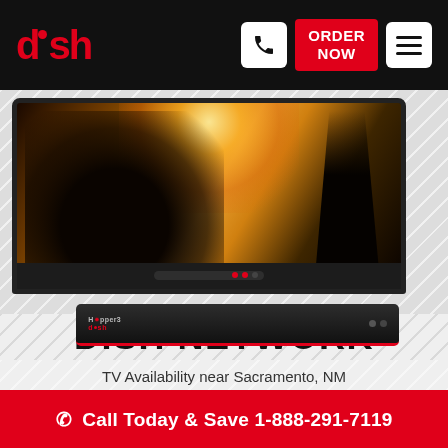[Figure (logo): DISH Network logo in red on black header bar]
ORDER NOW
[Figure (photo): TV displaying a motorcycle and rider silhouette scene with warm sunset lighting, with a DISH Hopper 3 set-top box in front]
DISH NETWORK
TV Availability near Sacramento, NM
Call Today & Save 1-888-291-7119